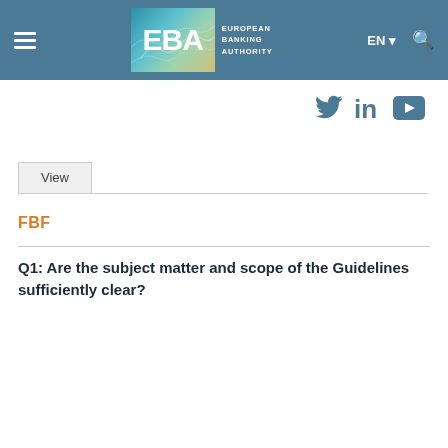EBA — European Banking Authority
[Figure (logo): EBA European Banking Authority logo with teal/gold gradient background]
Social media icons: Twitter, LinkedIn, YouTube
View
FBF
Q1: Are the subject matter and scope of the Guidelines sufficiently clear?